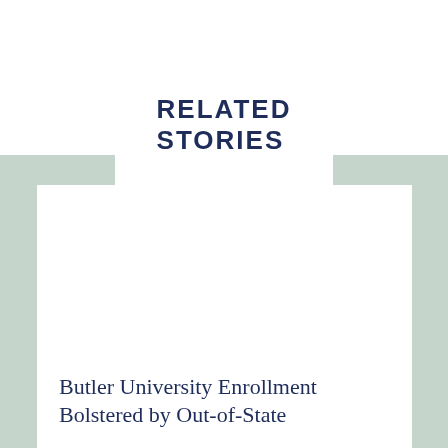RELATED STORIES
Butler University Enrollment Bolstered by Out-of-State